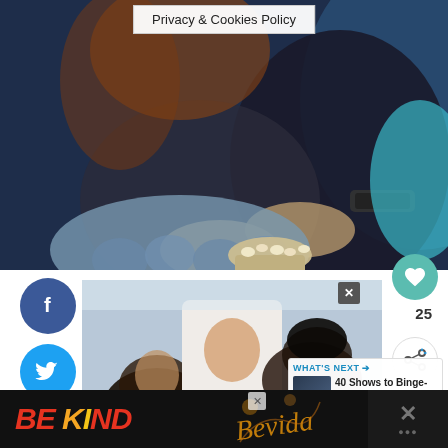[Figure (photo): Person sitting on couch holding TV remote and eating popcorn from a bowl, dimly lit blue-toned room with chunky knit blanket]
Privacy & Cookies Policy
2
SHARES
[Figure (infographic): Social sharing sidebar with Facebook (blue circle with f), Twitter (cyan circle with bird), Pinterest (red circle with P) share buttons on the left; heart icon (teal circle) showing 25 likes and share icon on the right]
[Figure (photo): Three people (children/family) lying on bed looking up at camera laughing, viewed from above]
[Figure (infographic): What's Next panel showing '40 Shows to Binge-Watch...' with thumbnail image and arrow]
[Figure (infographic): Bottom advertisement bar with 'BE KIND' text in red/orange large letters and decorative script graphic, with close button and dark panel with X on far right]